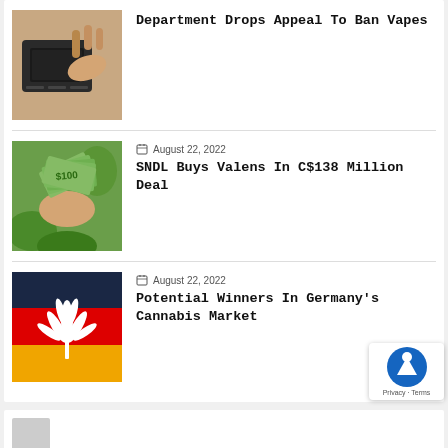[Figure (photo): Hand holding credit card or electronic device close-up]
Department Drops Appeal To Ban Vapes
[Figure (photo): Hand holding fanned out US dollar bills with green foliage background]
August 22, 2022
SNDL Buys Valens In C$138 Million Deal
[Figure (illustration): German flag with white cannabis leaf silhouette]
August 22, 2022
Potential Winners In Germany's Cannabis Market